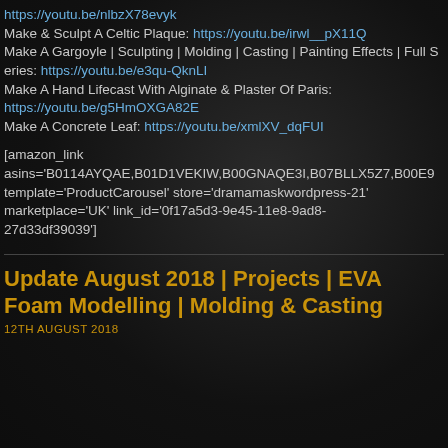https://youtu.be/nlbzX78evyk
Make & Sculpt A Celtic Plaque: https://youtu.be/irwl__pX11Q
Make A Gargoyle | Sculpting | Molding | Casting | Painting Effects | Full Series: https://youtu.be/e3qu-QknLI
Make A Hand Lifecast With Alginate & Plaster Of Paris: https://youtu.be/g5HmOXGA82E
Make A Concrete Leaf: https://youtu.be/xmlXV_dqFUI
[amazon_link
asins='B0114AYQAE,B01D1VEKIW,B00GNAQE3I,B07BLLX5Z7,B00E9
template='ProductCarousel' store='dramamaskwordpress-21'
marketplace='UK' link_id='0f17a5d3-9e45-11e8-9ad8-27d33df39039']
Update August 2018 | Projects | EVA Foam Modelling | Molding & Casting
12TH AUGUST 2018